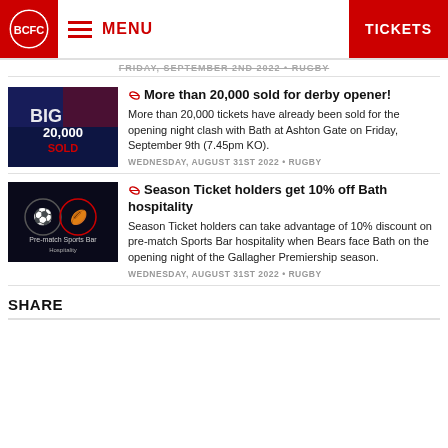Bristol City / Bears website header with logo, MENU, and TICKETS button
FRIDAY, SEPTEMBER 2ND 2022 • RUGBY
More than 20,000 sold for derby opener!
More than 20,000 tickets have already been sold for the opening night clash with Bath at Ashton Gate on Friday, September 9th (7.45pm KO).
WEDNESDAY, AUGUST 31ST 2022 • RUGBY
Season Ticket holders get 10% off Bath hospitality
Season Ticket holders can take advantage of 10% discount on pre-match Sports Bar hospitality when Bears face Bath on the opening night of the Gallagher Premiership season.
WEDNESDAY, AUGUST 31ST 2022 • RUGBY
SHARE